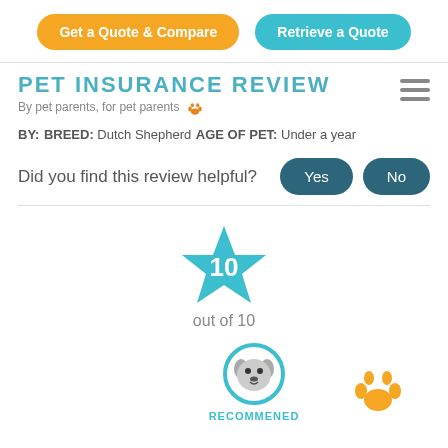[Figure (other): Orange 'Get a Quote & Compare' button and teal 'Retrieve a Quote' button]
PET INSURANCE REVIEW
By pet parents, for pet parents 🐾
BY:
BREED: Dutch Shepherd
AGE OF PET: Under a year
Did you find this review helpful?
[Figure (other): Yes and No buttons in dark teal]
[Figure (other): Blue star rating badge showing 10 out of 10]
out of 10
[Figure (other): Recommended badge with dog face icon and RECOMMENED label, plus gold paw print icon]